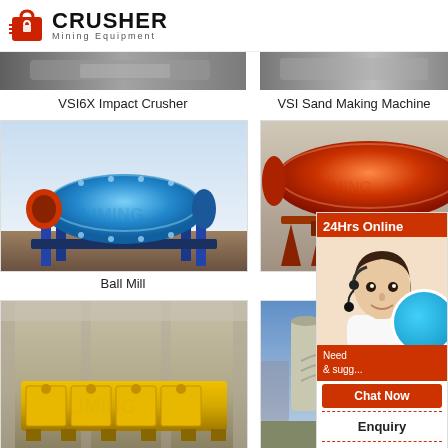[Figure (logo): Crusher Mining Equipment logo with red shopping bag icon and bold CRUSHER text]
[Figure (photo): VSI6X Impact Crusher machine photo (cropped top portion visible)]
[Figure (photo): VSI Sand Making Machine photo (cropped top portion visible)]
VSI6X Impact Crusher
VSI Sand Making Machine
[Figure (photo): Ball Mill - large blue cylindrical grinding machine on support frame]
[Figure (photo): Magnetic separator - red/orange cylindrical drum machine on frame]
Ball Mill
Magnetic
[Figure (photo): Yellow flotation machine / mining separator equipment in industrial hall]
[Figure (photo): Spiral classifier / mineral processing equipment outdoor installation]
[Figure (infographic): 24Hrs Online chat panel with customer service rep photo, Chat Now button, Enquiry section, and limingjlmofen@sina.com email]